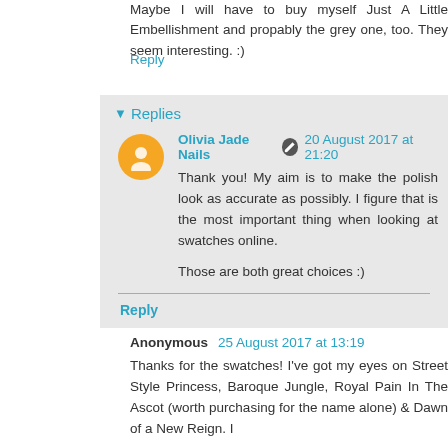Maybe I will have to buy myself Just A Little Embellishment and propably the grey one, too. They seem interesting. :)
Reply
Replies
Olivia Jade Nails  20 August 2017 at 21:20
Thank you! My aim is to make the polish look as accurate as possibly. I figure that is the most important thing when looking at swatches online.

Those are both great choices :)
Reply
Anonymous  25 August 2017 at 13:19
Thanks for the swatches! I've got my eyes on Street Style Princess, Baroque Jungle, Royal Pain In The Ascot (worth purchasing for the name alone) & Dawn of a New Reign. I